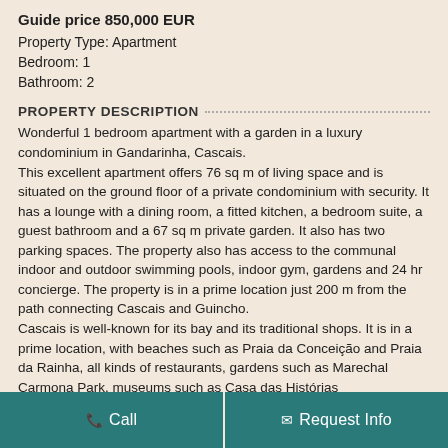Guide price 850,000 EUR
Property Type: Apartment
Bedroom: 1
Bathroom: 2
PROPERTY DESCRIPTION
Wonderful 1 bedroom apartment with a garden in a luxury condominium in Gandarinha, Cascais.
This excellent apartment offers 76 sq m of living space and is situated on the ground floor of a private condominium with security. It has a lounge with a dining room, a fitted kitchen, a bedroom suite, a guest bathroom and a 67 sq m private garden. It also has two parking spaces. The property also has access to the communal indoor and outdoor swimming pools, indoor gym, gardens and 24 hr concierge. The property is in a prime location just 200 m from the path connecting Cascais and Guincho.
Cascais is well-known for its bay and its traditional shops. It is in a prime location, with beaches such as Praia da Conceição and Praia da Rainha, all kinds of restaurants, gardens such as Marechal Carmona Park, museums such as Casa das Histórias Paula Rego, Centro Cultural de Cascais, Museu do Mar...
Call | Request Info